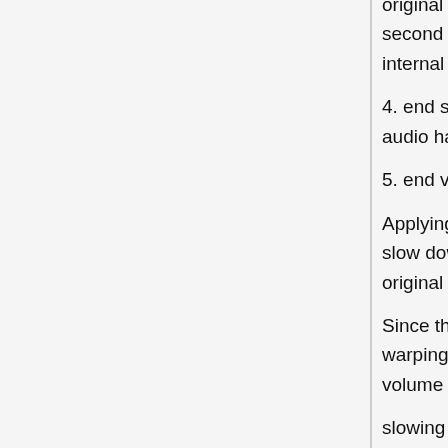original selection at which warping values can change between first and second part of selection. This point has an internal step value of 0 and internal volume of 100%;
4. end step (default -12): at end of warped selection, how many semitones audio has been warped;
5. end volume (default 40%): volume at end of warped audio.
Applying this plug-in with the default settings results in the audio starting to slow down halfway through the original selection, and dropping to 40% of original volume. Like unplugging a turntable while it's playing.
Since the "change time" is internally set at step 0 and volume 100%, different warping effects can be created, depending on the start and end step and volume values:
slowing down then speeding up;
speeding up then slowing down;
speeding up then remaining normal;